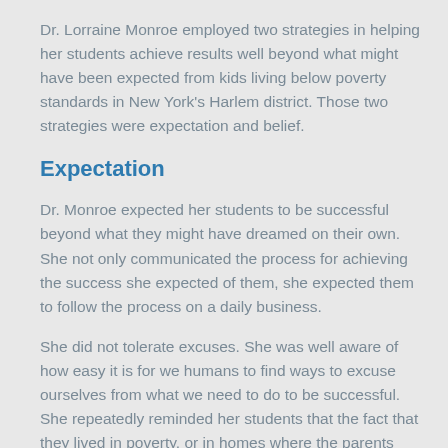Dr. Lorraine Monroe employed two strategies in helping her students achieve results well beyond what might have been expected from kids living below poverty standards in New York's Harlem district. Those two strategies were expectation and belief.
Expectation
Dr. Monroe expected her students to be successful beyond what they might have dreamed on their own. She not only communicated the process for achieving the success she expected of them, she expected them to follow the process on a daily business.
She did not tolerate excuses. She was well aware of how easy it is for we humans to find ways to excuse ourselves from what we need to do to be successful. She repeatedly reminded her students that the fact that they lived in poverty, or in homes where the parents were addicts struggling with their addiction, did not define who they were. Nor did their environment alter the potential each student had for achieving success at the highest level.